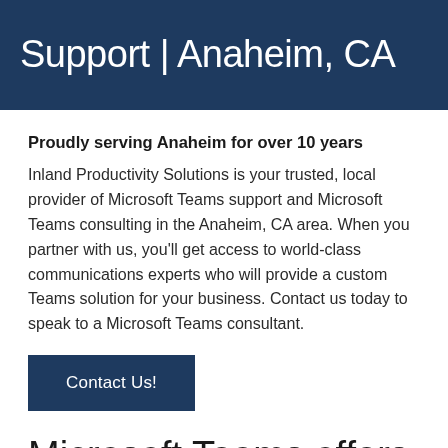Support | Anaheim, CA
Proudly serving Anaheim for over 10 years
Inland Productivity Solutions is your trusted, local provider of Microsoft Teams support and Microsoft Teams consulting in the Anaheim, CA area. When you partner with us, you'll get access to world-class communications experts who will provide a custom Teams solution for your business. Contact us today to speak to a Microsoft Teams consultant.
Contact Us!
Microsoft Teams offers tight